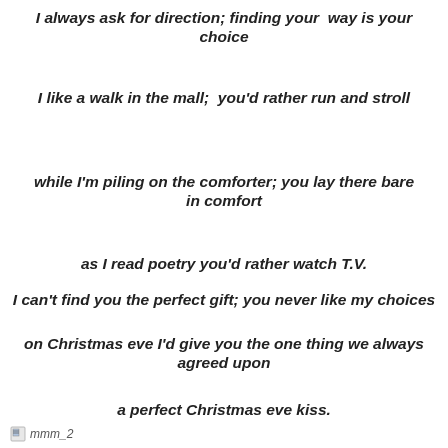I always ask for direction; finding your way is your choice
I like a walk in the mall; you'd rather run and stroll
while I'm piling on the comforter; you lay there bare in comfort
as I read poetry you'd rather watch T.V.
I can't find you the perfect gift; you never like my choices
on Christmas eve I'd give you the one thing we always agreed upon
a perfect Christmas eve kiss.
mmm_2